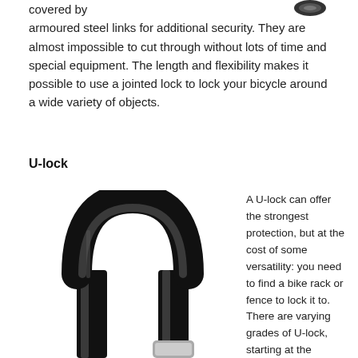covered by armoured steel links for additional security. They are almost impossible to cut through without lots of time and special equipment. The length and flexibility makes it possible to use a jointed lock to lock your bicycle around a wide variety of objects.
U-lock
[Figure (photo): A black U-lock photographed against a white background, showing the U-shaped shackle and the locking body below.]
A U-lock can offer the strongest protection, but at the cost of some versatility: you need to find a bike rack or fence to lock it to. There are varying grades of U-lock, starting at the